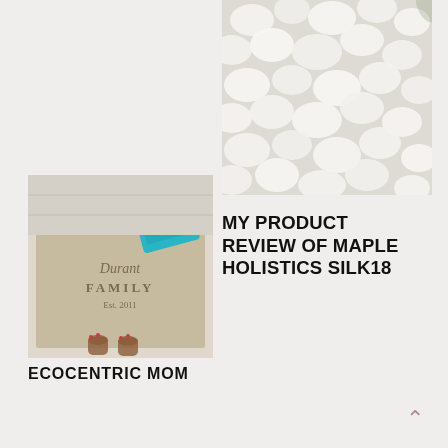[Figure (photo): White flowers/roses close-up photo, top-right area of page]
MY PRODUCT REVIEW OF MAPLE HOLISTICS SILK18
[Figure (photo): Photo of a burlap family doormat reading 'Durant FAMILY Est. 2011' with an orange pumpkin and teal product box, person standing on mat in sandals]
ECOCENTRIC MOM